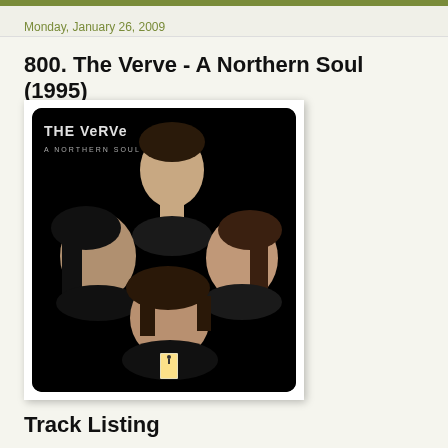Monday, January 26, 2009
800. The Verve - A Northern Soul (1995)
[Figure (photo): Album cover for The Verve - A Northern Soul (1995). Shows four band members' faces against a dark/black background. Text 'THE VERVE' and 'A NORTHERN SOUL' in top-left corner. A small lit doorway visible in the center-lower area.]
Track Listing